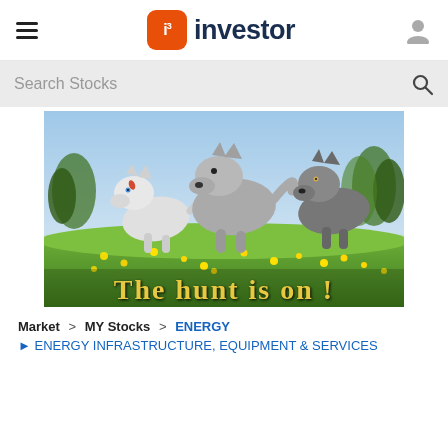i3 investor
Search Stocks
[Figure (illustration): Three wolves running through a meadow with yellow flowers under a blue sky. Text overlay reads: THE HUNT IS ON !]
Market > MY Stocks > ENERGY
ENERGY INFRASTRUCTURE, EQUIPMENT & SERVICES